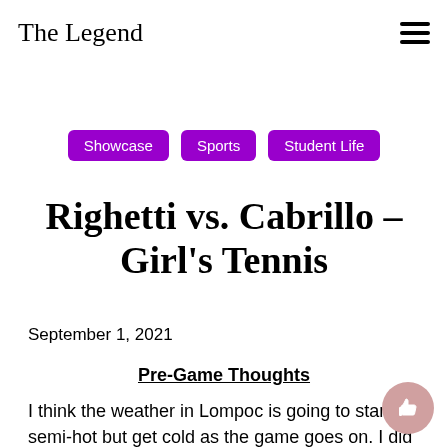The Legend
Showcase
Sports
Student Life
Righetti vs. Cabrillo – Girl's Tennis
September 1, 2021
Pre-Game Thoughts
I think the weather in Lompoc is going to start off semi-hot but get cold as the game goes on. I did find out, yesterday, Cabrillo's Girl's Tennis team is one league